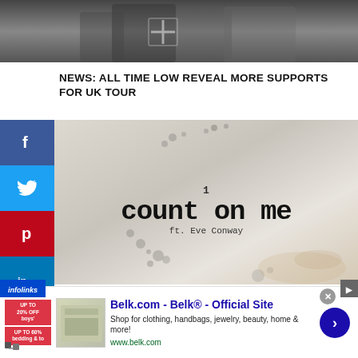[Figure (photo): Black and white photo of a band/musicians at the top of the page]
NEWS: ALL TIME LOW REVEAL MORE SUPPORTS FOR UK TOUR
[Figure (photo): Album/single artwork for 'Count On Me ft. Eve Conway' - weathered white wall with text in typewriter/stamp font]
[Figure (infographic): Advertisement for Belk.com - Belk® - Official Site. Shop for clothing, handbags, jewelry, beauty, home & more! www.belk.com]